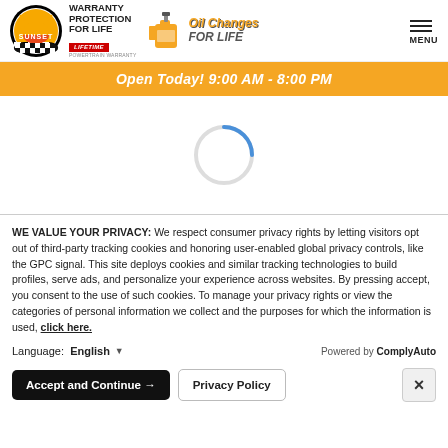[Figure (logo): Sunset auto dealership header with Sunset circular logo, Warranty Protection For Life Lifetime badge, Oil Changes For Life text with oil jug icon, and MENU hamburger icon]
Open Today! 9:00 AM - 8:00 PM
[Figure (other): Loading spinner (blue quarter-circle arc)]
WE VALUE YOUR PRIVACY: We respect consumer privacy rights by letting visitors opt out of third-party tracking cookies and honoring user-enabled global privacy controls, like the GPC signal. This site deploys cookies and similar tracking technologies to build profiles, serve ads, and personalize your experience across websites. By pressing accept, you consent to the use of such cookies. To manage your privacy rights or view the categories of personal information we collect and the purposes for which the information is used, click here.
Language:  English  ▼  Powered by ComplyAuto
Accept and Continue →  Privacy Policy  ×